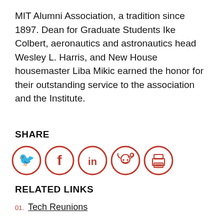MIT Alumni Association, a tradition since 1897. Dean for Graduate Students Ike Colbert, aeronautics and astronautics head Wesley L. Harris, and New House housemaster Liba Mikic earned the honor for their outstanding service to the association and the Institute.
SHARE
[Figure (infographic): Five social share icons in red circles: Twitter (bird), Facebook (f), LinkedIn (in), Reddit (alien), Print (printer)]
RELATED LINKS
01. Tech Reunions